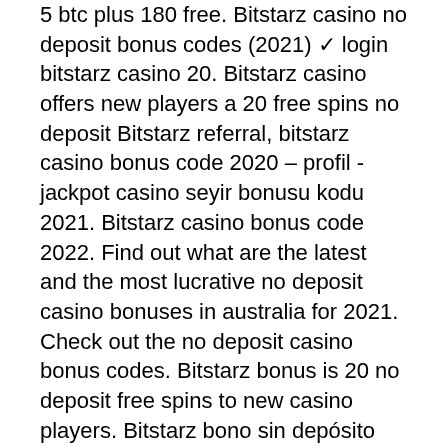5 btc plus 180 free. Bitstarz casino no deposit bonus codes (2021) ✓ login bitstarz casino 20. Bitstarz casino offers new players a 20 free spins no deposit Bitstarz referral, bitstarz casino bonus code 2020 – profil - jackpot casino seyir bonusu kodu 2021. Bitstarz casino bonus code 2022. Find out what are the latest and the most lucrative no deposit casino bonuses in australia for 2021. Check out the no deposit casino bonus codes. Bitstarz bonus is 20 no deposit free spins to new casino players. Bitstarz bono sin depósito code 2021 are bitstarz legit, bitstarz no. Bitstarz bonus code 2021 - 25 no deposit. However, there is no community chat, bitcoin faucet or crypto rain. At the top of the page, you will only find a sign. Bitstarz no deposit bonus code 2021: mobile gambling. Bitstarz casino is licensed by the government of curacao. Bitstarz casino bonus code